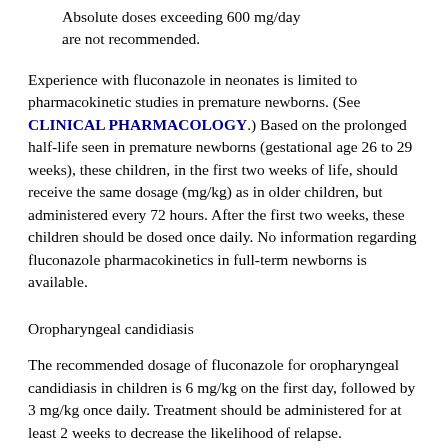Absolute doses exceeding 600 mg/day are not recommended.
Experience with fluconazole in neonates is limited to pharmacokinetic studies in premature newborns. (See CLINICAL PHARMACOLOGY.) Based on the prolonged half-life seen in premature newborns (gestational age 26 to 29 weeks), these children, in the first two weeks of life, should receive the same dosage (mg/kg) as in older children, but administered every 72 hours. After the first two weeks, these children should be dosed once daily. No information regarding fluconazole pharmacokinetics in full-term newborns is available.
Oropharyngeal candidiasis
The recommended dosage of fluconazole for oropharyngeal candidiasis in children is 6 mg/kg on the first day, followed by 3 mg/kg once daily. Treatment should be administered for at least 2 weeks to decrease the likelihood of relapse.
Esophageal candidiasis
For the treatment of esophageal candidiasis, the recommended dosage of fluconazole in children is 6 mg/kg on the first day, followed by 3 mg/kg once daily. Doses up to 12 mg/kg/day may be used, based on medical judgment of the patient's response to